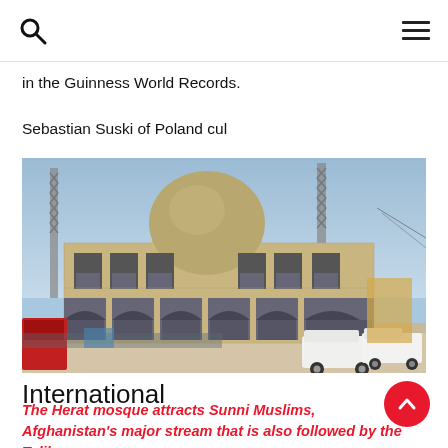in the Guinness World Records.
Sebastian Suski of Poland cul
[Figure (photo): A mosque building with a large dome and arched windows on two floors, flanked by two tall lattice towers/minarets. Vehicles and market stalls visible in foreground. Clear blue sky. Location: Herat, Afghanistan.]
International
The Herat mosque attracts Sunni Muslims, Afghanistan's major stream that is also followed by the Taliban.